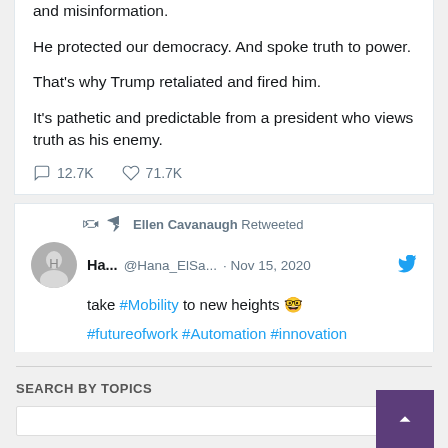and misinformation.

He protected our democracy. And spoke truth to power.

That's why Trump retaliated and fired him.

It's pathetic and predictable from a president who views truth as his enemy.
12.7K  71.7K
Ellen Cavanaugh Retweeted
Ha... @Hana_ElSa... · Nov 15, 2020
take #Mobility to new heights 🤓
#futureofwork #Automation #innovation
SEARCH BY TOPICS